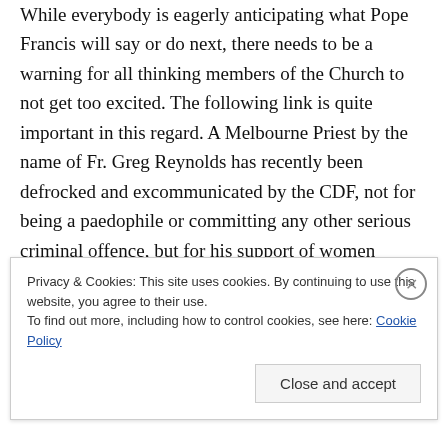While everybody is eagerly anticipating what Pope Francis will say or do next, there needs to be a warning for all thinking members of the Church to not get too excited. The following link is quite important in this regard. A Melbourne Priest by the name of Fr. Greg Reynolds has recently been defrocked and excommunicated by the CDF, not for being a paedophile or committing any other serious criminal offence, but for his support of women Priests and gays. The link makes for some very interesting
Privacy & Cookies: This site uses cookies. By continuing to use this website, you agree to their use.
To find out more, including how to control cookies, see here: Cookie Policy